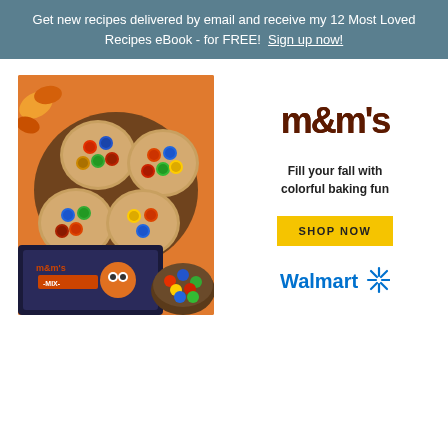Get new recipes delivered by email and receive my 12 Most Loved Recipes eBook - for FREE!  Sign up now!
[Figure (photo): M&Ms advertisement showing cookies topped with colorful M&M candies on an orange background, alongside a bag of M&Ms Halloween Mix and a bowl of M&Ms]
[Figure (logo): M&Ms logo in brown stylized text]
Fill your fall with colorful baking fun
SHOP NOW
[Figure (logo): Walmart logo in blue text with spark icon]